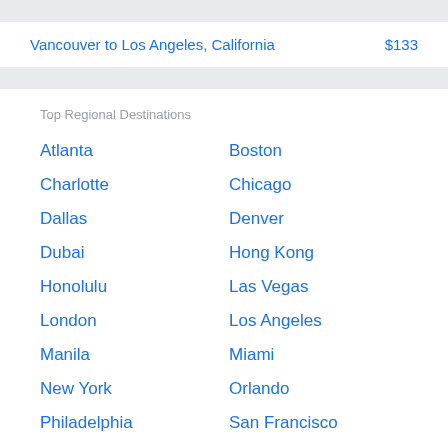Vancouver to Los Angeles, California    $133
Top Regional Destinations
Atlanta
Boston
Charlotte
Chicago
Dallas
Denver
Dubai
Hong Kong
Honolulu
Las Vegas
London
Los Angeles
Manila
Miami
New York
Orlando
Philadelphia
San Francisco
Seattle
Seoul